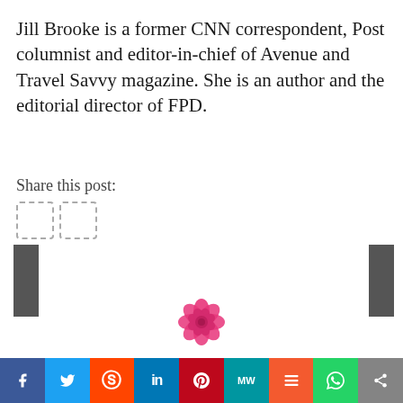Jill Brooke is a former CNN correspondent, Post columnist and editor-in-chief of Avenue and Travel Savvy magazine. She is an author and the editorial director of FPD.
Share this post:
[Figure (logo): Pink rose logo centered near bottom of page]
[Figure (infographic): Social media sharing bar with icons: Facebook, Twitter, Reddit, LinkedIn, Pinterest, MeWe, Mix, WhatsApp, Share]